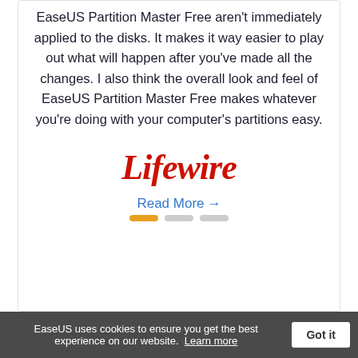EaseUS Partition Master Free aren't immediately applied to the disks. It makes it way easier to play out what will happen after you've made all the changes. I also think the overall look and feel of EaseUS Partition Master Free makes whatever you're doing with your computer's partitions easy.
[Figure (logo): Lifewire logo in red italic script font]
Read More →
[Figure (other): Carousel indicator dots: one active orange dot and two inactive grey dots]
EaseUS uses cookies to ensure you get the best experience on our website. Learn more Got it